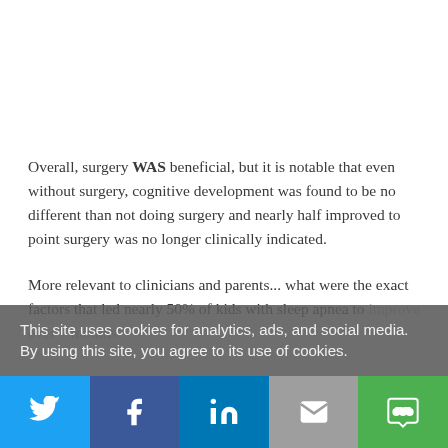Overall, surgery WAS beneficial, but it is notable that even without surgery, cognitive development was found to be no different than not doing surgery and nearly half improved to point surgery was no longer clinically indicated.
More relevant to clinicians and parents... what were the exact factors that led nearly 50% of kids with sleep apnea to improve over 7 months?
This site uses cookies for analytics, ads, and social media. By using this site, you agree to its use of cookies.